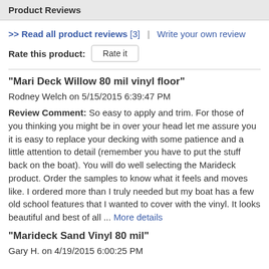Product Reviews
>> Read all product reviews [3] | Write your own review
Rate this product: Rate it
"Mari Deck Willow 80 mil vinyl floor"
Rodney Welch on 5/15/2015 6:39:47 PM
Review Comment: So easy to apply and trim. For those of you thinking you might be in over your head let me assure you it is easy to replace your decking with some patience and a little attention to detail (remember you have to put the stuff back on the boat). You will do well selecting the Marideck product. Order the samples to know what it feels and moves like. I ordered more than I truly needed but my boat has a few old school features that I wanted to cover with the vinyl. It looks beautiful and best of all ... More details
"Marideck Sand Vinyl 80 mil"
Gary H. on 4/19/2015 6:00:25 PM